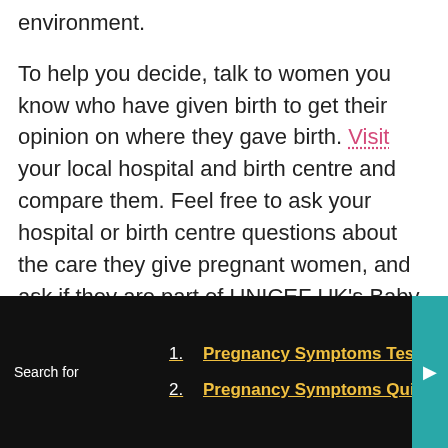environment.
To help you decide, talk to women you know who have given birth to get their opinion on where they gave birth. Visit your local hospital and birth centre and compare them. Feel free to ask your hospital or birth centre questions about the care they give pregnant women, and ask if they are part of UNICEF UK's Baby Friendly Initiative. Finally,
Manage Cookie Consent
We use cookies to optimize our website and our service.
Search for
1. Pregnancy Symptoms Test
2. Pregnancy Symptoms Quiz